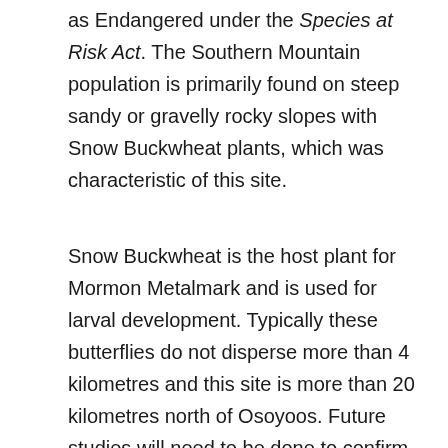as Endangered under the Species at Risk Act. The Southern Mountain population is primarily found on steep sandy or gravelly rocky slopes with Snow Buckwheat plants, which was characteristic of this site.
Snow Buckwheat is the host plant for Mormon Metalmark and is used for larval development. Typically these butterflies do not disperse more than 4 kilometres and this site is more than 20 kilometres north of Osoyoos. Future studies will need to be done to confirm whether this discovery was a wandering individual or recolonization of this area.